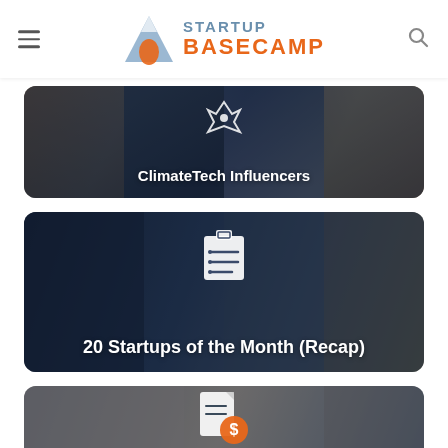Startup Basecamp
[Figure (photo): Dark overlay card with photo of people and text 'ClimateTech Influencers']
[Figure (photo): Dark overlay card with photo of people in a meeting and text '20 Startups of the Month (Recap)' with clipboard icon]
[Figure (photo): Dark overlay card with photo of people shaking hands and a document/dollar icon, partially visible at bottom]